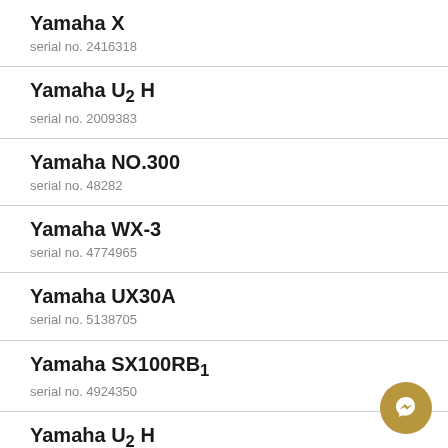Yamaha X
serial no. 2416318
Yamaha U2 H
serial no. 2009383
Yamaha NO.300
serial no. 48282
Yamaha WX-3
serial no. 4774965
Yamaha UX30A
serial no. 5138705
Yamaha SX100RB1
serial no. 4924350
Yamaha U2 H
serial no. 1774267
Yamaha UX-3